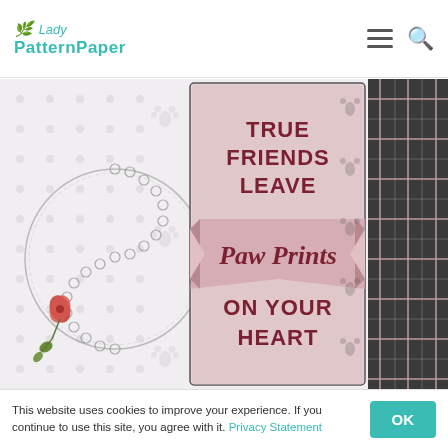Lady PatternPaper — navigation header with logo, hamburger menu, and search icon
[Figure (photo): Craft scrapbooking photo featuring a decorative card with text 'TRUE FRIENDS LEAVE Paw Prints ON YOUR HEART' on a pink banner, surrounded by patterned paper, floral embellishments, and plaid fabric.]
This website uses cookies to improve your experience. If you continue to use this site, you agree with it. Privacy Statement